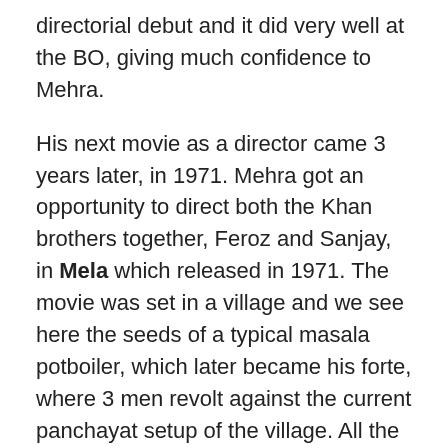directorial debut and it did very well at the BO, giving much confidence to Mehra.
His next movie as a director came 3 years later, in 1971. Mehra got an opportunity to direct both the Khan brothers together, Feroz and Sanjay, in Mela which released in 1971. The movie was set in a village and we see here the seeds of a typical masala potboiler, which later became his forte, where 3 men revolt against the current panchayat setup of the village. All the characters in the movie were diverse – a man from a lower caste wishing to marry a brahmin girl, an orphan who is brought up by a muslim woman, a daaku who will not allow any women from the village to tie the nuptial knots because the thakurs had raped and killed his sweetheart. The orphan was played by Sanjay and Feroz played the disgruntled